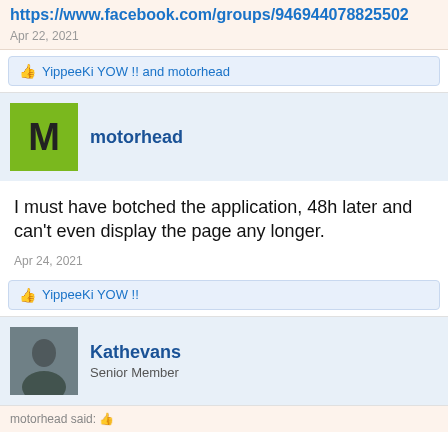https://www.facebook.com/groups/946944078825502
Apr 22, 2021
👍 YippeeKi YOW !! and motorhead
motorhead
I must have botched the application, 48h later and can't even display the page any longer.
Apr 24, 2021
👍 YippeeKi YOW !!
Kathevans
Senior Member
motorhead said: